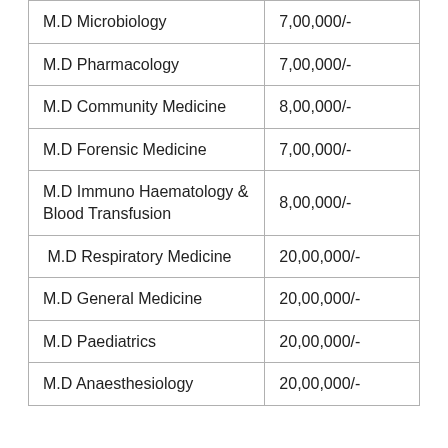| M.D Microbiology | 7,00,000/- |
| M.D Pharmacology | 7,00,000/- |
| M.D Community Medicine | 8,00,000/- |
| M.D Forensic Medicine | 7,00,000/- |
| M.D Immuno Haematology &
Blood Transfusion | 8,00,000/- |
| M.D Respiratory Medicine | 20,00,000/- |
| M.D General Medicine | 20,00,000/- |
| M.D Paediatrics | 20,00,000/- |
| M.D Anaesthesiology | 20,00,000/- |